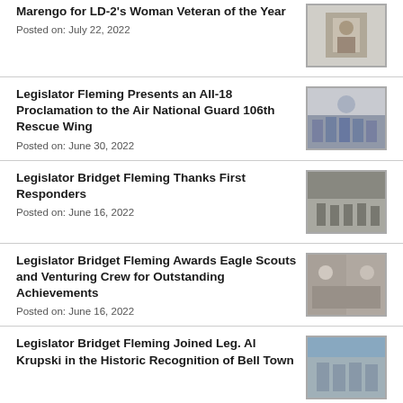Marengo for LD-2's Woman Veteran of the Year
Posted on: July 22, 2022
Legislator Fleming Presents an All-18 Proclamation to the Air National Guard 106th Rescue Wing
Posted on: June 30, 2022
Legislator Bridget Fleming Thanks First Responders
Posted on: June 16, 2022
Legislator Bridget Fleming Awards Eagle Scouts and Venturing Crew for Outstanding Achievements
Posted on: June 16, 2022
Legislator Bridget Fleming Joined Leg. Al Krupski in the Historic Recognition of Bell Town